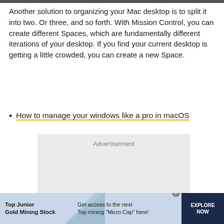Another solution to organizing your Mac desktop is to split it into two. Or three, and so forth. With Mission Control, you can create different Spaces, which are fundamentally different iterations of your desktop. If you find your current desktop is getting a little crowded, you can create a new Space.
How to manage your windows like a pro in macOS
[Figure (other): Advertisement placeholder box with light gray background]
[Figure (infographic): Bottom banner advertisement for Top Junior Gold Mining Stock with dark navy call-to-action button reading EXPLORE NOW]